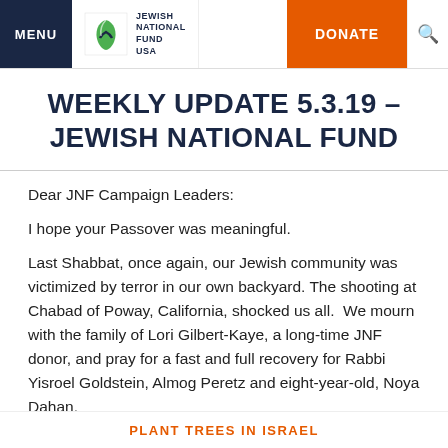MENU | JEWISH NATIONAL FUND USA | DONATE
WEEKLY UPDATE 5.3.19 – JEWISH NATIONAL FUND
Dear JNF Campaign Leaders:
I hope your Passover was meaningful.
Last Shabbat, once again, our Jewish community was victimized by terror in our own backyard. The shooting at Chabad of Poway, California, shocked us all.  We mourn with the family of Lori Gilbert-Kaye, a long-time JNF donor, and pray for a fast and full recovery for Rabbi Yisroel Goldstein, Almog Peretz and eight-year-old, Noya Dahan.
PLANT TREES IN ISRAEL